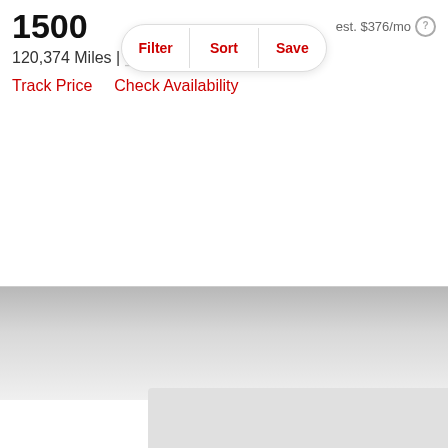1500
est. $376/mo
120,374 Miles |
Track Price   Check Availability
[Figure (other): Filter / Sort / Save navigation bar with rounded pill shape and red labels]
[Figure (other): Gray gradient banner area with a white heart/favorite icon on the right side]
[Figure (other): Light gray placeholder image box at the bottom of the page]